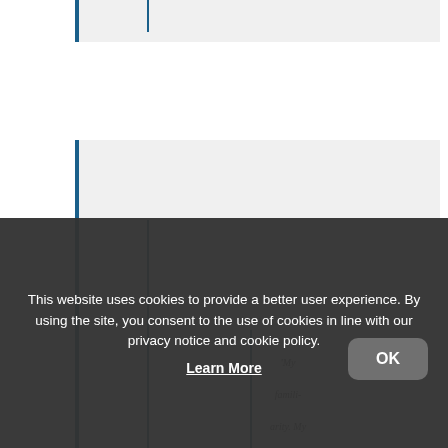[Figure (bar-chart): Partial bar chart visible behind a cookie consent overlay. Three vertical blue bars of descending height are shown against a light grey background. A partial italic quote text beginning with 'My' is visible in the lower portion of the chart.]
This website uses cookies to provide a better user experience. By using the site, you consent to the use of cookies in line with our privacy notice and cookie policy.
Learn More
OK